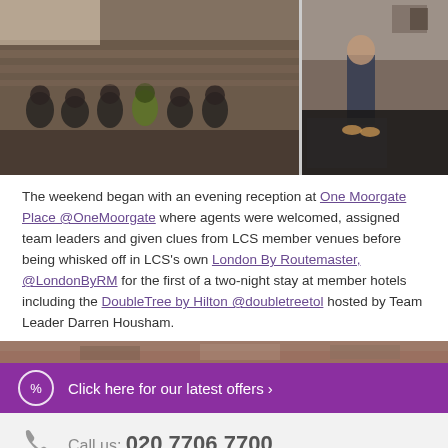[Figure (photo): Two photos side by side: left shows a group of people in a bakery/warehouse setting wearing caps; right shows a man standing at a merchandise table in an office/showroom.]
The weekend began with an evening reception at One Moorgate Place @OneMoorgate where agents were welcomed, assigned team leaders and given clues from LCS member venues before being whisked off in LCS's own London By Routemaster, @LondonByRM for the first of a two-night stay at member hotels including the DoubleTree by Hilton @doubletreetol hosted by Team Leader Darren Housham.
[Figure (photo): Partial view of a photograph at the bottom of the content area.]
Click here for our latest offers ›
Call us: 020 7706 7700